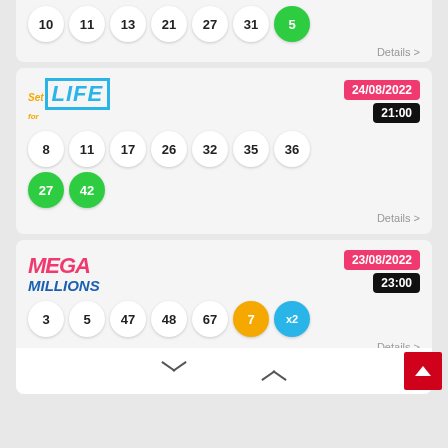[Figure (other): Partial lottery results card showing balls: 10, 11, 13, 21, 27, 31 (white), 5 (green). Details link below.]
[Figure (other): Set for Life lottery card. Date: 24/08/2022, Time: 21:00. Main balls: 8, 11, 17, 26, 32, 35, 36. Lucky balls (green): 27, 42. Details link.]
[Figure (other): Mega Millions lottery card. Date: 23/08/2022, Time: 23:00. Main balls: 3, 5, 47, 48, 67 (white), 7 (orange), x2 (blue). Details link.]